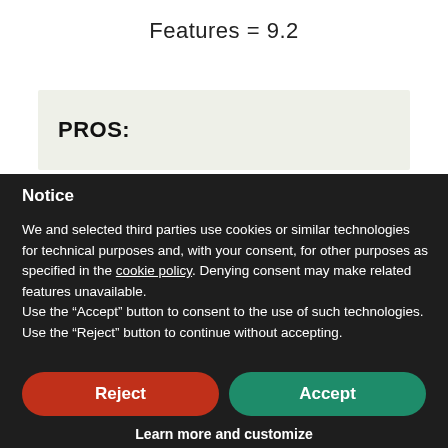Features = 9.2
PROS:
Notice
We and selected third parties use cookies or similar technologies for technical purposes and, with your consent, for other purposes as specified in the cookie policy. Denying consent may make related features unavailable.
Use the “Accept” button to consent to the use of such technologies. Use the “Reject” button to continue without accepting.
Reject
Accept
Learn more and customize